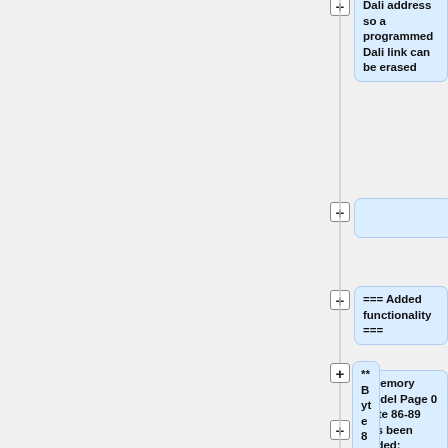Dali address so a programmed Dali link can be erased
=== Added functionality ===
* Memory model Page 0 Byte 86-89 has been added:
** Byte 86-87: In these bytes, the timeout of state machine "Task Immediate queue" can be programmed
** Byte 88-89: In